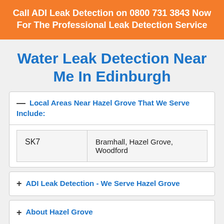Call ADI Leak Detection on 0800 731 3843 Now For The Professional Leak Detection Service
Water Leak Detection Near Me In Edinburgh
— Local Areas Near Hazel Grove That We Serve Include:
|  |  |
| --- | --- |
| SK7 | Bramhall, Hazel Grove, Woodford |
+ ADI Leak Detection - We Serve Hazel Grove
+ About Hazel Grove